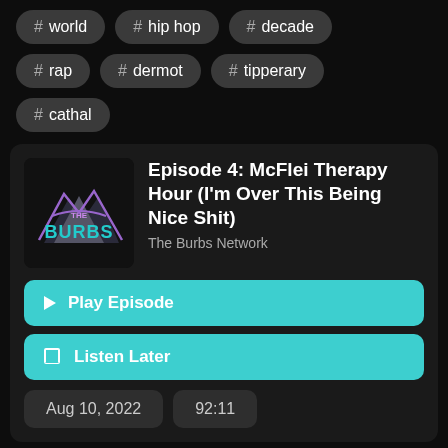# world
# hip hop
# decade
# rap
# dermot
# tipperary
# cathal
[Figure (logo): The Burbs podcast logo — mountains with THE BURBS text in cyan/purple]
Episode 4: McFlei Therapy Hour (I'm Over This Being Nice Shit)
The Burbs Network
▶ Play Episode
🔖 Listen Later
Aug 10, 2022
92:11